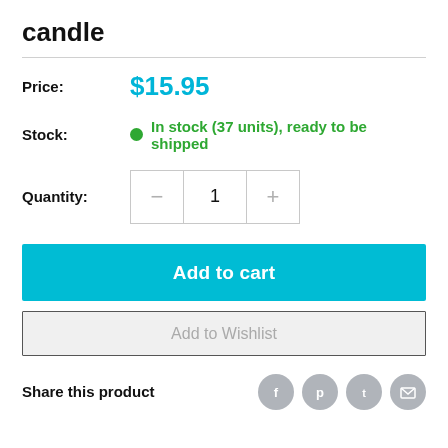candle
Price: $15.95
Stock: In stock (37 units), ready to be shipped
Quantity: 1
Add to cart
Add to Wishlist
Share this product